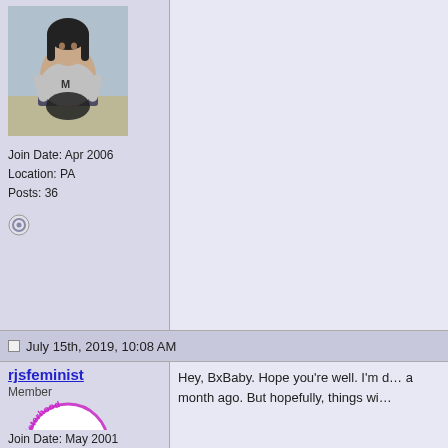[Figure (photo): Profile photo of a young woman sitting, wearing a grey top with an 'M' letter, in what appears to be a classroom or office setting]
Join Date: Apr 2006
Location: PA
Posts: 36
[Figure (other): Status icon - small circular grey icon indicating offline or away status]
July 15th, 2019, 10:08 AM
rjsfeminist
Member
[Figure (logo): Sisterhood is Powerful circular logo with purple text on white background with green stars]
Hey, BxBaby. Hope you're well. I'm d... a month ago. But hopefully, things wi...
Join Date: May 2001
Location: west central Florida